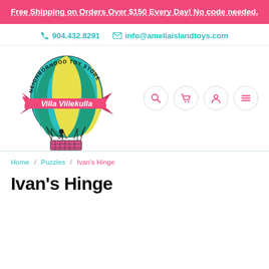Free Shipping on Orders Over $150 Every Day! No code needed.
904.432.8291   info@ameliaislandtoys.com
[Figure (logo): Villa Villekulla Neighborhood Toy Store logo — hot air balloon with green and yellow stripes, pink banner reading 'Villa Villekulla', figure hanging from ropes, basket at bottom]
Home / Puzzles / Ivan's Hinge
Ivan's Hinge